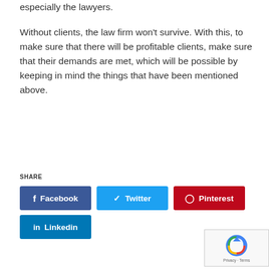especially the lawyers.
Without clients, the law firm won't survive. With this, to make sure that there will be profitable clients, make sure that their demands are met, which will be possible by keeping in mind the things that have been mentioned above.
SHARE
[Figure (other): Social share buttons: Facebook, Twitter, Pinterest, Linkedin]
[Figure (other): reCAPTCHA widget with Privacy and Terms text]